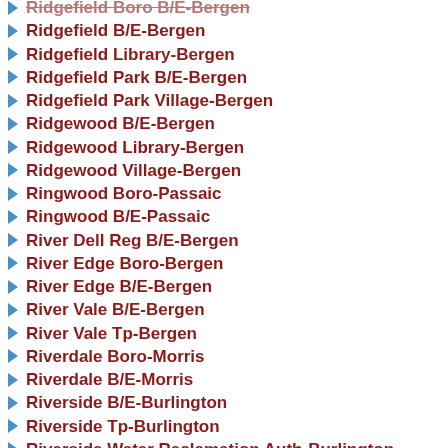Ridgefield Boro B/E-Bergen
Ridgefield B/E-Bergen
Ridgefield Library-Bergen
Ridgefield Park B/E-Bergen
Ridgefield Park Village-Bergen
Ridgewood B/E-Bergen
Ridgewood Library-Bergen
Ridgewood Village-Bergen
Ringwood Boro-Passaic
Ringwood B/E-Passaic
River Dell Reg B/E-Bergen
River Edge Boro-Bergen
River Edge B/E-Bergen
River Vale B/E-Bergen
River Vale Tp-Bergen
Riverdale Boro-Morris
Riverdale B/E-Morris
Riverside B/E-Burlington
Riverside Tp-Burlington
Riverside Water Reclamation Auth-Burlington